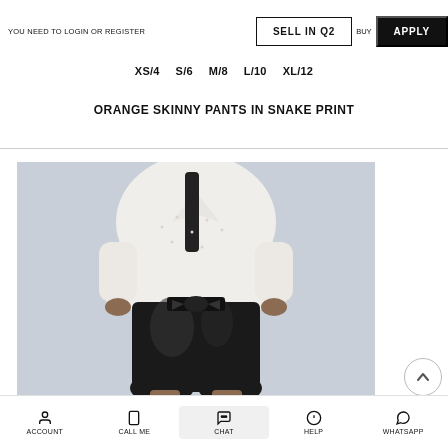YOU NEED TO LOGIN OR REGISTER
SELL IN Q2
BUY
APPLY
XS/4   S/6   M/8   L/10   XL/12
ORANGE SKINNY PANTS IN SNAKE PRINT
[Figure (photo): Model wearing black satin high-waist shorts with a tied bow belt and a white blouse, against a light blue-grey background]
ACCOUNT   CALL ME   CHAT   HELP   WHATSAPP